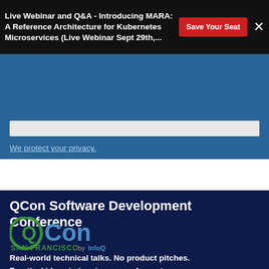Live Webinar and Q&A - Introducing MARA: A Reference Architecture for Kubernetes Microservices (Live Webinar Sept 29th,...
We protect your privacy.
QCon Software Development Conference
[Figure (logo): QCon San Francisco by InfoQ logo — Q in green circle, Con in blue, SAN FRANCISCO by InfoQ in green/blue text]
Real-world technical talks. No product pitches.
Practical ideas to inspire you and your team.